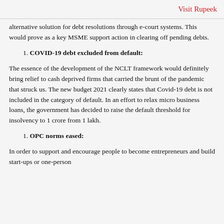Visit Rupeek
alternative solution for debt resolutions through e-court systems. This would prove as a key MSME support action in clearing off pending debts.
1. COVID-19 debt excluded from default:
The essence of the development of the NCLT framework would definitely bring relief to cash deprived firms that carried the brunt of the pandemic that struck us. The new budget 2021 clearly states that Covid-19 debt is not included in the category of default. In an effort to relax micro business loans, the government has decided to raise the default threshold for insolvency to 1 crore from 1 lakh.
1. OPC norms eased:
In order to support and encourage people to become entrepreneurs and build start-ups or one-person